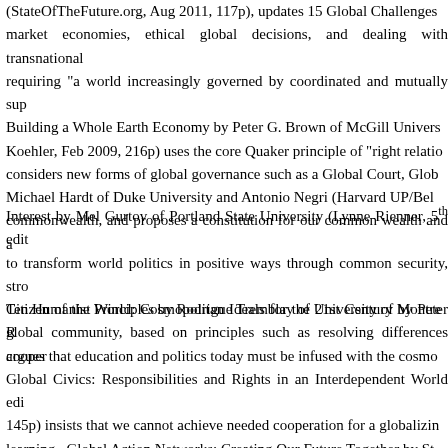(StateOfTheFuture.org, Aug 2011, 117p), updates 15 Global Challenges market economies, ethical global decisions, and dealing with transnational requiring "a world increasingly governed by coordinated and mutually sup Building a Whole Earth Economy by Peter G. Brown of McGill Univers Koehler, Feb 2009, 216p) uses the core Quaker principle of "right relatio considers new forms of global governance such as a Global Court, Glob Michael Hardt of Duke University and Antonio Negri (Harvard UP/Bel commonwealth, and proposes a constitution for our common wealth and a
Interest by Mel Gurtov of Portland State University (Lynne Rienner, 5th edit to transform world politics in positive ways through common security, stro Ten Humanist Principles by Rodrigue Tremblay of University of Montre global community, based on principles such as resolving differences cooper
Citizen of the World: Cosmopolitan Ideals for the 21st Century by Peter R argues that education and politics today must be infused with the cosmo Global Civics: Responsibilities and Rights in an Interdependent World edi 145p) insists that we cannot achieve needed cooperation for a globalizin learning.  Global Action Networks: Creating Our Future Together by St governments as overwhelmed with problems, and looks at the promising in change and innovation.  Another important NGO is the WSF, described in t Notre Dame et al. (Paradigm Publishers, June 2011, 416p), describing the